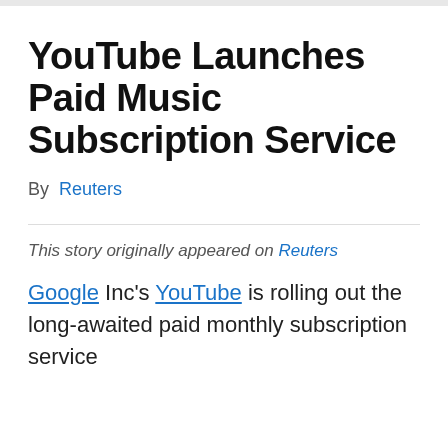YouTube Launches Paid Music Subscription Service
By  Reuters
This story originally appeared on Reuters
Google Inc's YouTube is rolling out the long-awaited paid monthly subscription service